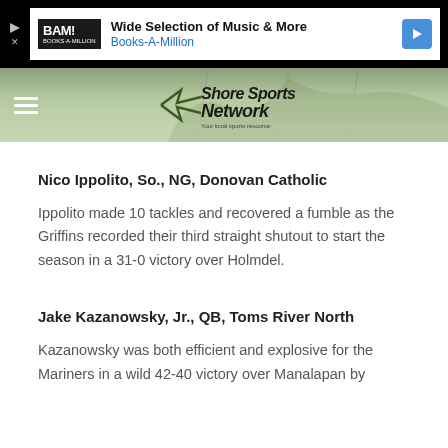[Figure (screenshot): Advertisement banner for Books-A-Million with BAM! logo, text 'Wide Selection of Music & More' and 'Books-A-Million', play/arrow icons on black background]
[Figure (logo): Shore Sports Network logo on green textured banner with hamburger menu icon on left]
Nico Ippolito, So., NG, Donovan Catholic
Ippolito made 10 tackles and recovered a fumble as the Griffins recorded their third straight shutout to start the season in a 31-0 victory over Holmdel.
Jake Kazanowsky, Jr., QB, Toms River North
Kazanowsky was both efficient and explosive for the Mariners in a wild 42-40 victory over Manalapan by